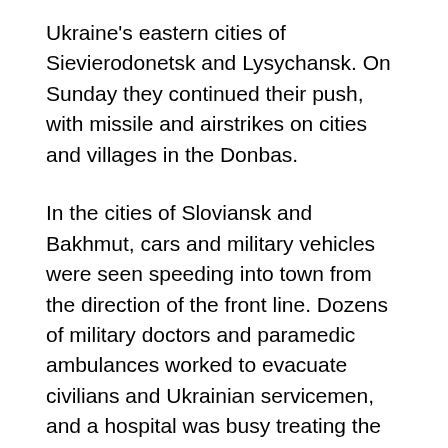Ukraine's eastern cities of Sievierodonetsk and Lysychansk. On Sunday they continued their push, with missile and airstrikes on cities and villages in the Donbas.
In the cities of Sloviansk and Bakhmut, cars and military vehicles were seen speeding into town from the direction of the front line. Dozens of military doctors and paramedic ambulances worked to evacuate civilians and Ukrainian servicemen, and a hospital was busy treating the injured, many hurt by artillery shelling.
The U.K. military said in its daily intelligence update that Ukrainian counterattacks in Sieverodonetsk were “likely blunting the operational momentum Russian forces previously gained through concentrating combat units and